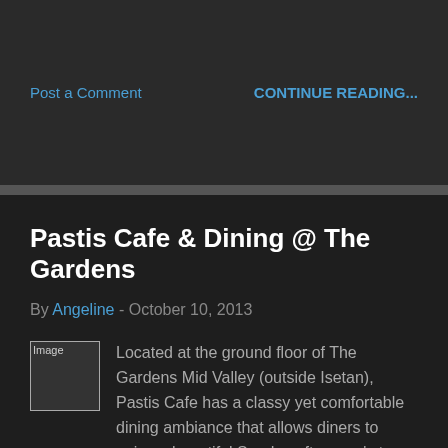Post a Comment
CONTINUE READING...
Pastis Cafe & Dining @ The Gardens
By Angeline - October 10, 2013
[Figure (photo): Broken image placeholder]
Located at the ground floor of The Gardens Mid Valley (outside Isetan), Pastis Cafe has a classy yet comfortable dining ambiance that allows diners to enjoy a beautiful Sunday afternoon's tea. The cafe offers mainly on light snacks, de …
Post a Comment
CONTINUE READING...
KK's First Biggest Oktoberfest